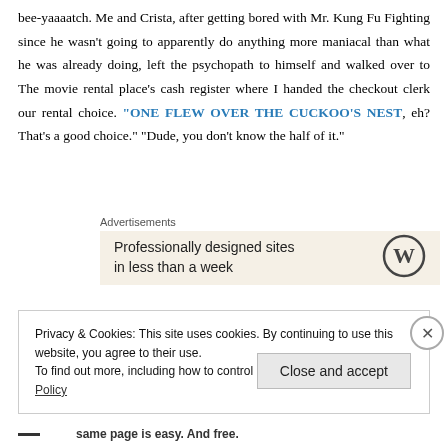bee-yaaaatch. Me and Crista, after getting bored with Mr. Kung Fu Fighting since he wasn't going to apparently do anything more maniacal than what he was already doing, left the psychopath to himself and walked over to The movie rental place's cash register where I handed the checkout clerk our rental choice. "ONE FLEW OVER THE CUCKOO'S NEST, eh? That's a good choice." "Dude, you don't know the half of it."
Advertisements
[Figure (other): WordPress advertisement banner with text 'Professionally designed sites in less than a week' and WordPress logo]
Privacy & Cookies: This site uses cookies. By continuing to use this website, you agree to their use.
To find out more, including how to control cookies, see here: Cookie Policy
Close and accept
same page is easy. And free.